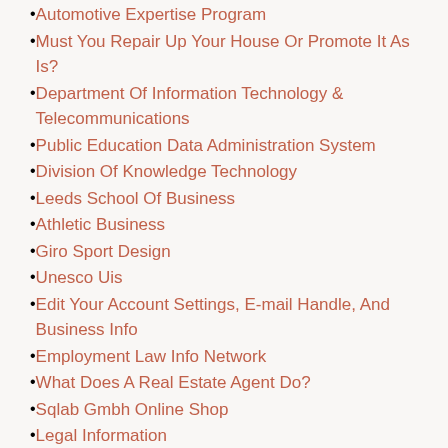Automotive Expertise Program
Must You Repair Up Your House Or Promote It As Is?
Department Of Information Technology & Telecommunications
Public Education Data Administration System
Division Of Knowledge Technology
Leeds School Of Business
Athletic Business
Giro Sport Design
Unesco Uis
Edit Your Account Settings, E-mail Handle, And Business Info
Employment Law Info Network
What Does A Real Estate Agent Do?
Sqlab Gmbh Online Shop
Legal Information
Houston Information Technology Providers
Women Health
Tips About Urgent Care Centers
Higher Labs For Better Health